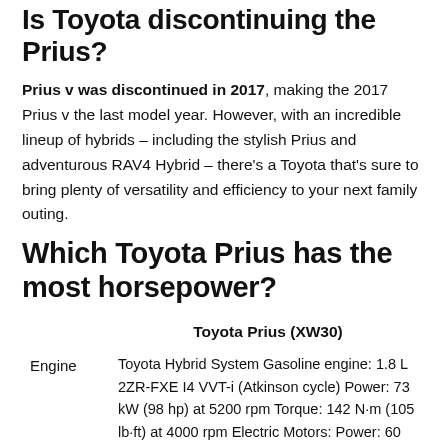Is Toyota discontinuing the Prius?
Prius v was discontinued in 2017, making the 2017 Prius v the last model year. However, with an incredible lineup of hybrids – including the stylish Prius and adventurous RAV4 Hybrid – there's a Toyota that's sure to bring plenty of versatility and efficiency to your next family outing.
Which Toyota Prius has the most horsepower?
|  | Toyota Prius (XW30) |
| --- | --- |
| Engine | Toyota Hybrid System Gasoline engine: 1.8 L 2ZR-FXE I4 VVT-i (Atkinson cycle) Power: 73 kW (98 hp) at 5200 rpm Torque: 142 N·m (105 lb·ft) at 4000 rpm Electric Motors: Power: 60 kW (80 hp) Hybrid system total: 100 kW (134 hp) |